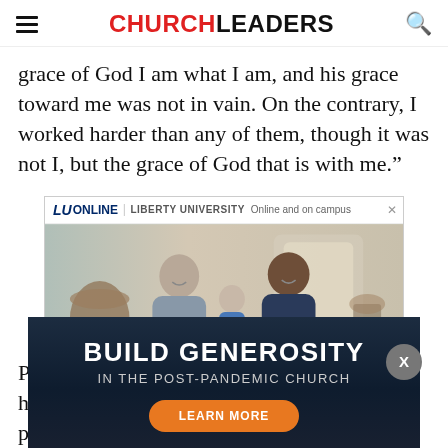CHURCHLEADERS
grace of God I am what I am, and his grace toward me was not in vain. On the contrary, I worked harder than any of them, though it was not I, but the grace of God that is with me.”
[Figure (photo): Liberty University Online advertisement showing a family (man, woman, and baby) with text 'You have important people in your life.']
[Figure (infographic): Build Generosity In The Post-Pandemic Church advertisement with Learn More button on dark blue background]
Paul di… r did he condemn himself for being a horrible person and then get